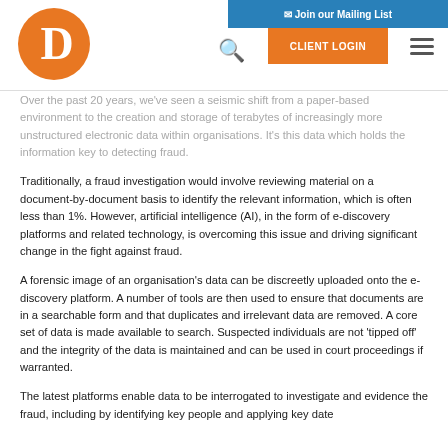Join our Mailing List | CLIENT LOGIN
[Figure (logo): Orange circle logo with white letter D]
Over the past 20 years, we've seen a seismic shift from a paper-based environment to the creation and storage of terabytes of increasingly more unstructured electronic data within organisations. It's this data which holds the information key to detecting fraud.
Traditionally, a fraud investigation would involve reviewing material on a document-by-document basis to identify the relevant information, which is often less than 1%. However, artificial intelligence (AI), in the form of e-discovery platforms and related technology, is overcoming this issue and driving significant change in the fight against fraud.
A forensic image of an organisation's data can be discreetly uploaded onto the e-discovery platform. A number of tools are then used to ensure that documents are in a searchable form and that duplicates and irrelevant data are removed. A core set of data is made available to search. Suspected individuals are not 'tipped off' and the integrity of the data is maintained and can be used in court proceedings if warranted.
The latest platforms enable data to be interrogated to investigate and evidence the fraud, including by identifying key people and applying key date ranges and more. This can then reduce the process of days and months to...